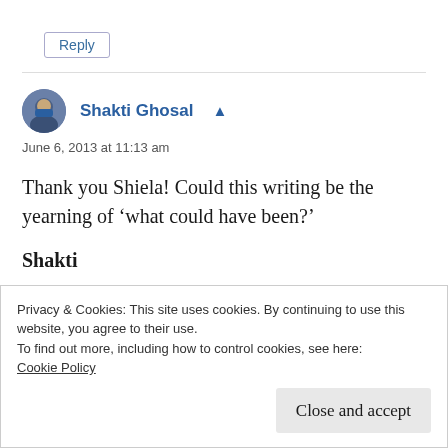Reply
Shakti Ghosal ▲
June 6, 2013 at 11:13 am
Thank you Shiela! Could this writing be the yearning of 'what could have been?'
Shakti
Privacy & Cookies: This site uses cookies. By continuing to use this website, you agree to their use.
To find out more, including how to control cookies, see here:
Cookie Policy
Close and accept